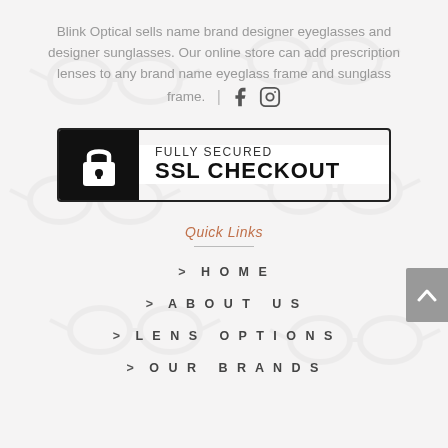Blink Optical sells name brand designer eyeglasses and designer sunglasses. Our online store can add prescription lenses to any brand name eyeglass frame and sunglass frame. | [Facebook icon] [Instagram icon]
[Figure (other): SSL Checkout badge: black left panel with padlock icon, white right panel reading FULLY SECURED SSL CHECKOUT]
Quick Links
> HOME
> ABOUT US
> LENS OPTIONS
> OUR BRANDS